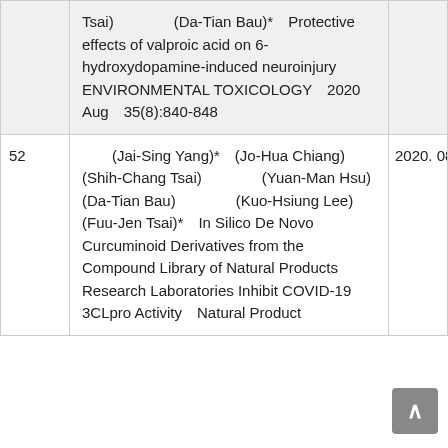| # | Content | Year |
| --- | --- | --- |
|  | Tsai)　　　　(Da-Tian Bau)*　Protective effects of valproic acid on 6-hydroxydopamine-induced neuroinjury　ENVIRONMENTAL TOXICOLOGY　2020 Aug　35(8):840-848 |  |
| 52 | 　　(Jai-Sing Yang)*　(Jo-Hua Chiang)　　　　(Shih-Chang Tsai)　　　　(Yuan-Man Hsu)　　　　(Da-Tian Bau)　　　　(Kuo-Hsiung Lee)　　　　(Fuu-Jen Tsai)*　In Silico De Novo Curcuminoid Derivatives from the Compound Library of Natural Products Research Laboratories Inhibit COVID-19 3CLpro Activity　Natural Product | 2020. 08 |